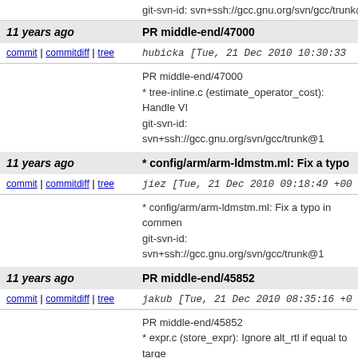git-svn-id: svn+ssh://gcc.gnu.org/svn/gcc/trunk@1
11 years ago   PR middle-end/47000
commit | commitdiff | tree   hubicka [Tue, 21 Dec 2010 10:30:33 +0000
PR middle-end/47000
* tree-inline.c (estimate_operator_cost): Handle VI

git-svn-id: svn+ssh://gcc.gnu.org/svn/gcc/trunk@1
11 years ago   * config/arm/arm-ldmstm.ml: Fix a typo in comm
commit | commitdiff | tree   jiez [Tue, 21 Dec 2010 09:18:49 +0000 (0
* config/arm/arm-ldmstm.ml: Fix a typo in commen

git-svn-id: svn+ssh://gcc.gnu.org/svn/gcc/trunk@1
11 years ago   PR middle-end/45852
commit | commitdiff | tree   jakub [Tue, 21 Dec 2010 08:35:16 +0000 (
PR middle-end/45852
* expr.c (store_expr): Ignore alt_rtl if equal to target but has side-effects.